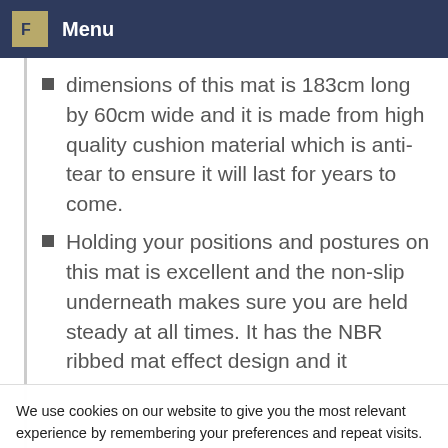Menu
dimensions of this mat is 183cm long by 60cm wide and it is made from high quality cushion material which is anti-tear to ensure it will last for years to come.
Holding your positions and postures on this mat is excellent and the non-slip underneath makes sure you are held steady at all times. It has the NBR ribbed mat effect design and it
We use cookies on our website to give you the most relevant experience by remembering your preferences and repeat visits. By clicking “Accept All”, you consent to the use of ALL the cookies. However, you may visit "Cookie Settings" to provide a controlled consent.
Cookie Settings
Accept All